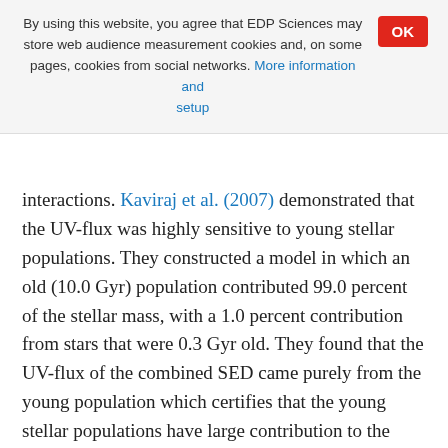By using this website, you agree that EDP Sciences may store web audience measurement cookies and, on some pages, cookies from social networks. More information and setup
interactions. Kaviraj et al. (2007) demonstrated that the UV-flux was highly sensitive to young stellar populations. They constructed a model in which an old (10.0 Gyr) population contributed 99.0 percent of the stellar mass, with a 1.0 percent contribution from stars that were 0.3 Gyr old. They found that the UV-flux of the combined SED came purely from the young population which certifies that the young stellar populations have large contribution to the UV-flux, which can pollute the effect of binary interactions. In addition, the radiation in the rest-frame F_UV-band can move into the observed-frame g-band at z ~ 2.0, and the